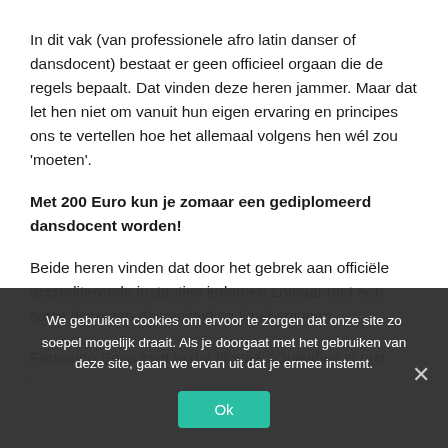In dit vak (van professionele afro latin danser of dansdocent) bestaat er geen officieel orgaan die de regels bepaalt. Dat vinden deze heren jammer. Maar dat let hen niet om vanuit hun eigen ervaring en principes ons te vertellen hoe het allemaal volgens hen wél zou 'moeten'.
Met 200 Euro kun je zomaar een gediplomeerd dansdocent worden!
Beide heren vinden dat door het gebrek aan officiële accrediterende instanties iedereen zomaar met een salsa docenten dansopleiding kan beginnen.
Fernando Sosa zegt in dat filmpje: "Opleiding is niet kort...
We gebruiken cookies om ervoor te zorgen dat onze site zo soepel mogelijk draait. Als je doorgaat met het gebruiken van deze site, gaan we ervan uit dat je ermee instemt.